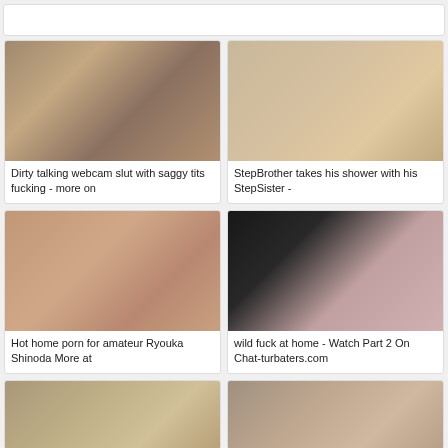[Figure (other): Top search/navigation bar]
[Figure (photo): Thumbnail 1 - webcam video still]
Dirty talking webcam slut with saggy tits fucking - more on
[Figure (photo): Thumbnail 2 - shower video still]
StepBrother takes his shower with his StepSister -
[Figure (photo): Thumbnail 3 - home video still]
Hot home porn for amateur Ryouka Shinoda More at
[Figure (photo): Thumbnail 4 - home video still]
wild fuck at home - Watch Part 2 On Chat-turbaters.com
[Figure (photo): Thumbnail 5 - partial, bottom of page]
[Figure (photo): Thumbnail 6 - partial, bottom of page]